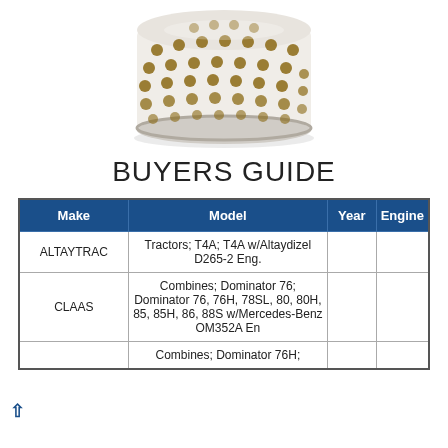[Figure (photo): A cylindrical white filter element with round perforations/holes showing gold-colored metal beneath, viewed from a slight top angle against a white background.]
BUYERS GUIDE
| Make | Model | Year | Engine |
| --- | --- | --- | --- |
| ALTAYTRAC | Tractors; T4A; T4A w/Altaydizel D265-2 Eng. |  |  |
| CLAAS | Combines; Dominator 76; Dominator 76, 76H, 78SL, 80, 80H, 85, 85H, 86, 88S w/Mercedes-Benz OM352A En |  |  |
|  | Combines; Dominator 76H; |  |  |